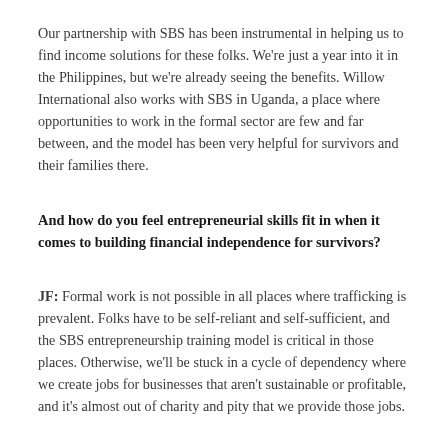Our partnership with SBS has been instrumental in helping us to find income solutions for these folks. We're just a year into it in the Philippines, but we're already seeing the benefits. Willow International also works with SBS in Uganda, a place where opportunities to work in the formal sector are few and far between, and the model has been very helpful for survivors and their families there.
And how do you feel entrepreneurial skills fit in when it comes to building financial independence for survivors?
JF: Formal work is not possible in all places where trafficking is prevalent. Folks have to be self-reliant and self-sufficient, and the SBS entrepreneurship training model is critical in those places. Otherwise, we'll be stuck in a cycle of dependency where we create jobs for businesses that aren't sustainable or profitable, and it's almost out of charity and pity that we provide those jobs.